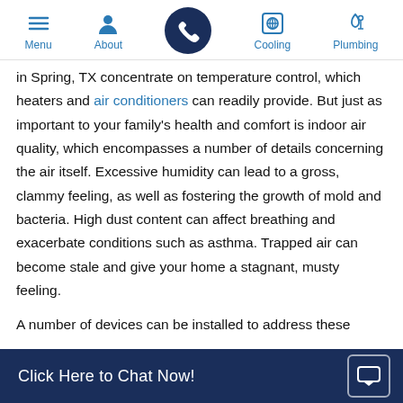Menu | About | [Phone] | Cooling | Plumbing
in Spring, TX concentrate on temperature control, which heaters and air conditioners can readily provide. But just as important to your family's health and comfort is indoor air quality, which encompasses a number of details concerning the air itself. Excessive humidity can lead to a gross, clammy feeling, as well as fostering the growth of mold and bacteria. High dust content can affect breathing and exacerbate conditions such as asthma. Trapped air can become stale and give your home a stagnant, musty feeling.
A number of devices can be installed to address these
Click Here to Chat Now!